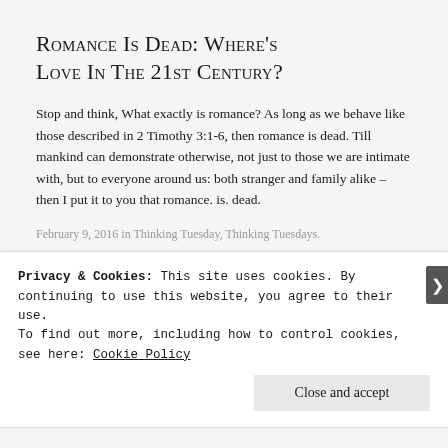Romance Is Dead: Where's Love In The 21st Century?
Stop and think, What exactly is romance? As long as we behave like those described in 2 Timothy 3:1-6, then romance is dead. Till mankind can demonstrate otherwise, not just to those we are intimate with, but to everyone around us: both stranger and family alike – then I put it to you that romance. is. dead.
February 9, 2016 in Thinking Tuesday, Thinking Tuesdays.
Privacy & Cookies: This site uses cookies. By continuing to use this website, you agree to their use.
To find out more, including how to control cookies, see here: Cookie Policy
Close and accept